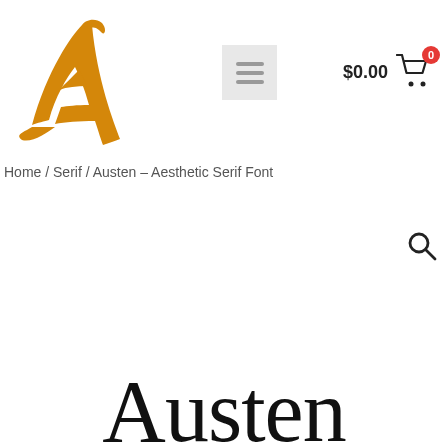[Figure (logo): Stylized golden/orange cursive letter A logo for Austen font store]
[Figure (other): Hamburger menu icon (three horizontal lines) on light grey background]
$0.00
[Figure (other): Shopping cart icon with red badge showing 0]
Home / Serif / Austen – Aesthetic Serif Font
[Figure (other): Search magnifying glass icon]
Austen